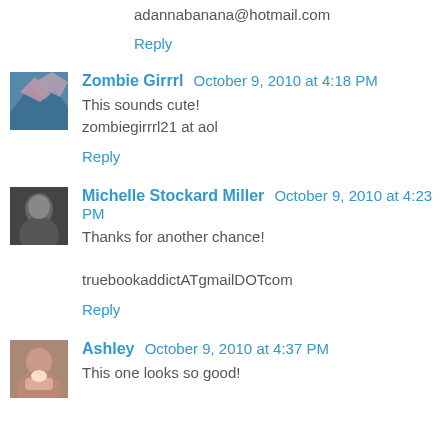adannabanana@hotmail.com
Reply
Zombie Girrrl  October 9, 2010 at 4:18 PM
This sounds cute!
zombiegirrrl21 at aol
Reply
Michelle Stockard Miller  October 9, 2010 at 4:23 PM
Thanks for another chance!

truebookaddictATgmailDOTcom
Reply
Ashley  October 9, 2010 at 4:37 PM
This one looks so good!